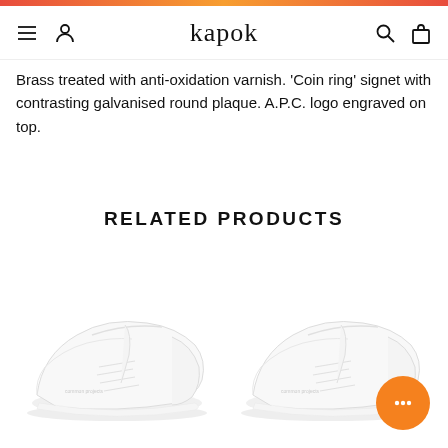kapok
Brass treated with anti-oxidation varnish. 'Coin ring' signet with contrasting galvanised round plaque. A.P.C. logo engraved on top.
RELATED PRODUCTS
[Figure (photo): White leather low-top sneaker, left angle view]
[Figure (photo): White leather low-top sneaker, right angle view]